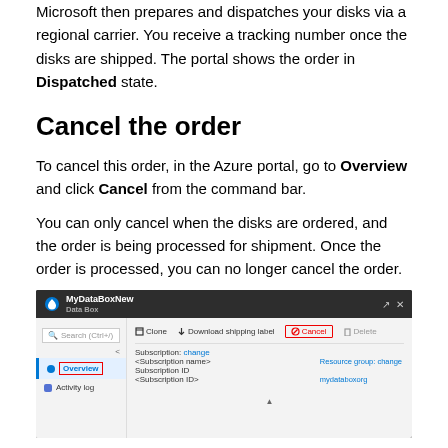Microsoft then prepares and dispatches your disks via a regional carrier. You receive a tracking number once the disks are shipped. The portal shows the order in Dispatched state.
Cancel the order
To cancel this order, in the Azure portal, go to Overview and click Cancel from the command bar.
You can only cancel when the disks are ordered, and the order is being processed for shipment. Once the order is processed, you can no longer cancel the order.
[Figure (screenshot): Azure portal screenshot showing MyDataBoxNew Data Box order page with Overview selected in the left sidebar and Cancel button highlighted in the command bar. Subscription details shown in the main panel.]
To delete a canceled order, go to Overview and click Delete